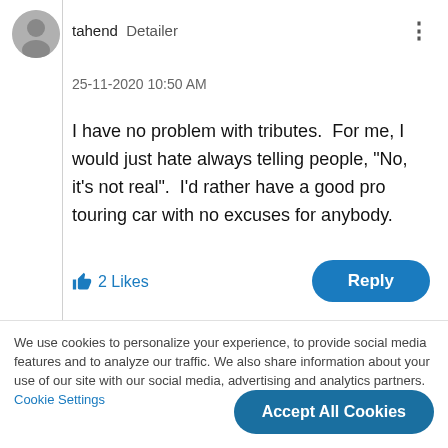[Figure (illustration): User avatar photo, circular, grayscale silhouette]
tahend  Detailer
25-11-2020 10:50 AM
I have no problem with tributes.  For me, I would just hate always telling people, "No, it's not real".  I'd rather have a good pro touring car with no excuses for anybody.
2 Likes
Reply
We use cookies to personalize your experience, to provide social media features and to analyze our traffic. We also share information about your use of our site with our social media, advertising and analytics partners. Cookie Settings
Accept All Cookies